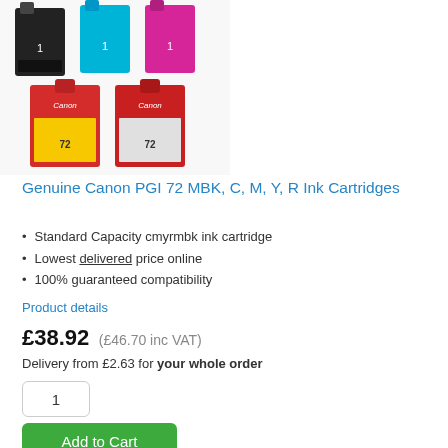[Figure (photo): Product photo of Canon PGI 72 MBK, C, M, Y, R ink cartridges — multiple cartridge boxes arranged in two rows showing black, cyan, magenta, yellow and red ink cartridges]
Genuine Canon PGI 72 MBK, C, M, Y, R Ink Cartridges
Standard Capacity cmyrmbk ink cartridge
Lowest delivered price online
100% guaranteed compatibility
Product details
£38.92 (£46.70 inc VAT)
Delivery from £2.63 for your whole order
1
Add to Cart
✔ In Stock
Cyan ink cartridges for the